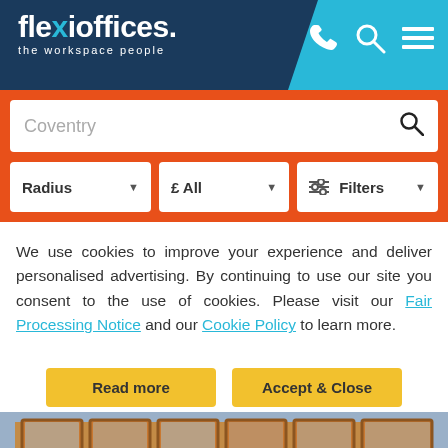[Figure (logo): Flexioffices logo with tagline 'the workspace people' on dark navy header with cyan section and phone/search/menu icons]
[Figure (screenshot): Search bar with text 'Coventry' and search icon, below orange background]
[Figure (screenshot): Filter row with Radius dropdown, £ All dropdown, and Filters dropdown on orange background]
We use cookies to improve your experience and deliver personalised advertising. By continuing to use our site you consent to the use of cookies. Please visit our Fair Processing Notice and our Cookie Policy to learn more.
[Figure (other): Read more button (yellow) and Accept & Close button (yellow)]
[Figure (photo): Building exterior with wooden/orange framed glass facade]